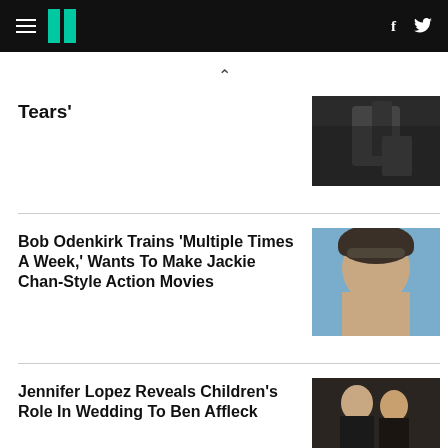HuffPost navigation bar with logo, hamburger menu, Facebook and Twitter icons
Tears'
Bob Odenkirk Trains 'Multiple Times A Week,' Wants To Make Jackie Chan-Style Action Movies
Jennifer Lopez Reveals Children's Role In Wedding To Ben Affleck